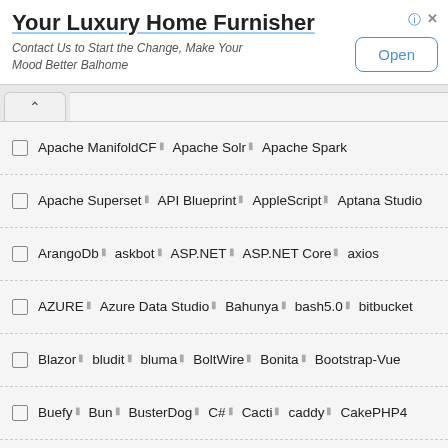[Figure (other): Advertisement banner for 'Your Luxury Home Furnisher' with title, subtitle, and Open button]
Apache ManifoldCF | Apache Solr | Apache Spark
Apache Superset | API Blueprint | AppleScript | Aptana Studio
ArangoDb | askbot | ASP.NET | ASP.NET Core | axios
AZURE | Azure Data Studio | Bahunya | bash5.0 | bitbucket
Blazor | bludit | bluma | BoltWire | Bonita | Bootstrap-Vue
Buefy | Bun | BusterDog | C# | Cacti | caddy | CakePHP4
Cardinal | cassandra | CentOS Stream | centos7 | centos8